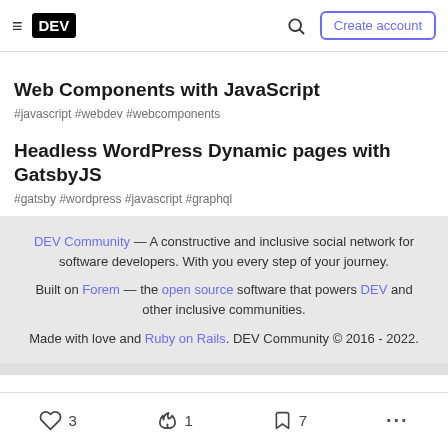DEV — Create account
Web Components with JavaScript
#javascript  #webdev  #webcomponents
Headless WordPress Dynamic pages with GatsbyJS
#gatsby  #wordpress  #javascript  #graphql
DEV Community — A constructive and inclusive social network for software developers. With you every step of your journey. Built on Forem — the open source software that powers DEV and other inclusive communities. Made with love and Ruby on Rails. DEV Community © 2016 - 2022.
3  1  7  ...